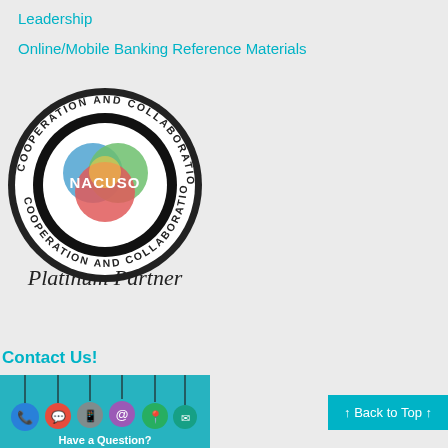Leadership
Online/Mobile Banking Reference Materials
[Figure (logo): NACUSO logo with circular text 'Cooperation and Collaboration • Proud Member Supporting' surrounding a colorful overlapping circles graphic with NACUSO text, and 'Platinum Partner' cursive text below]
Contact Us!
[Figure (illustration): Contact Us image with colorful hanging icons (phone, chat, mobile, at-sign, location pin, email) on teal background, with text 'Have a Question?' at the bottom]
↑ Back to Top ↑